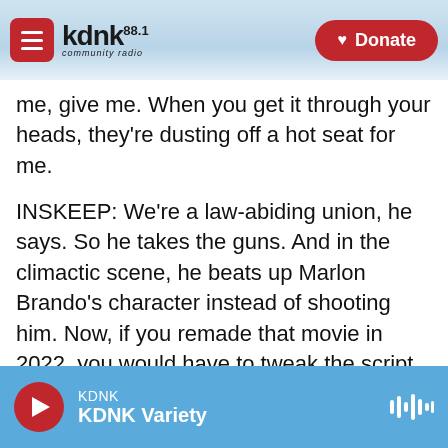[Figure (screenshot): KDNK 88.1 community radio website header with hamburger menu, logo, mountain background, and red Donate button]
me, give me. When you get it through your heads, they're dusting off a hot seat for me.
INSKEEP: We're a law-abiding union, he says. So he takes the guns. And in the climactic scene, he beats up Marlon Brando's character instead of shooting him. Now, if you remade that movie in 2022, you would have to tweak the script because the Supreme Court threw out that century-old law and made it easier for law-abiding citizens in New York to get a license to carry concealed firearms. NPR's Brian Mann is covering this. Hey there, Brian.
KDNK  KDNK Variety